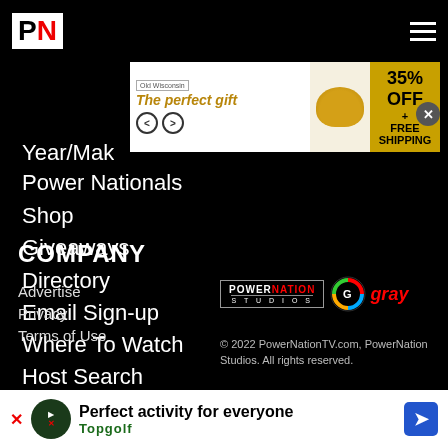[Figure (logo): PN logo - white P and red N on black background, hamburger menu icon on right]
[Figure (infographic): Advertisement banner: 'The perfect gift' with food bowl imagery and '35% OFF + FREE SHIPPING' offer]
Year/Make
Power Nationals
Shop
Giveaways
Directory
Email Sign-up
Where To Watch
Host Search
Vehicles For Sale
COMPANY
Advertise
Privacy
Terms of Use
[Figure (logo): PowerNation Studios logo and Gray Television logo]
© 2022 PowerNationTV.com, PowerNation Studios. All rights reserved.
[Figure (infographic): Advertisement banner: 'Perfect activity for everyone - Topgolf']